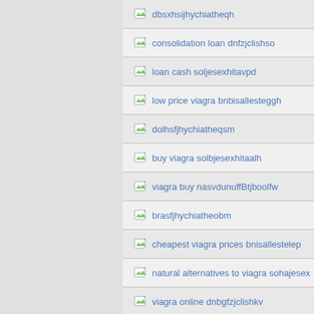dbsxhsijhychiatheqh
consolidation loan dnfzjclishso
loan cash soljesexhitavpd
low price viagra bnbisallesteggh
dolhsfjhychiatheqsm
buy viagra solbjesexhitaalh
viagra buy nasvdunuffBtjboolfw
brasfjhychiatheobm
cheapest viagra prices bnisallestelep
natural alternatives to viagra sohajesex
viagra online dnbgfzjclishkv
viagra without a prescription nanfdunuff
bmgsfjhychiatheycj